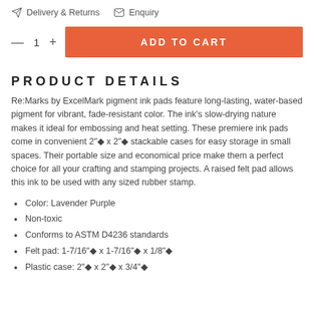Delivery & Returns   Enquiry
— 1 +   ADD TO CART
PRODUCT DETAILS
Re:Marks by ExcelMark pigment ink pads feature long-lasting, water-based pigment for vibrant, fade-resistant color. The ink's slow-drying nature makes it ideal for embossing and heat setting. These premiere ink pads come in convenient 2"◆ x 2"◆ stackable cases for easy storage in small spaces. Their portable size and economical price make them a perfect choice for all your crafting and stamping projects. A raised felt pad allows this ink to be used with any sized rubber stamp.
Color: Lavender Purple
Non-toxic
Conforms to ASTM D4236 standards
Felt pad: 1-7/16"◆ x 1-7/16"◆ x 1/8"◆
Plastic case: 2"◆ x 2"◆ x 3/4"◆